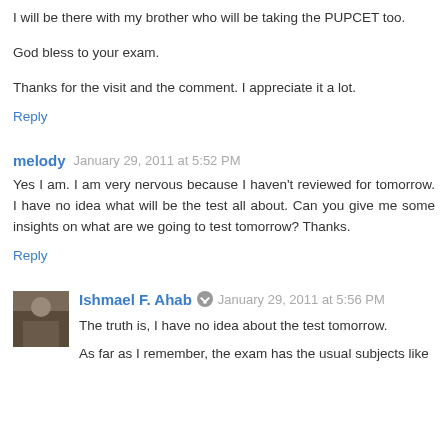I will be there with my brother who will be taking the PUPCET too.
God bless to your exam.
Thanks for the visit and the comment. I appreciate it a lot.
Reply
melody  January 29, 2011 at 5:52 PM
Yes I am. I am very nervous because I haven't reviewed for tomorrow. I have no idea what will be the test all about. Can you give me some insights on what are we going to test tomorrow? Thanks.
Reply
Ishmael F. Ahab  January 29, 2011 at 5:56 PM
The truth is, I have no idea about the test tomorrow.
As far as I remember, the exam has the usual subjects like